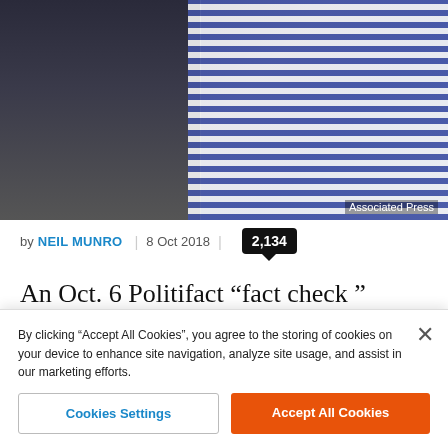[Figure (photo): Two people shaking hands or greeting, one in dark clothing on left, one in blue checkered shirt on right. Associated Press credit.]
by NEIL MUNRO | 8 Oct 2018 | 2,134
An Oct. 6 Politifact “fact check” inadvertently highlighted the fact that all Democratic Senators are backing a bill which would invite more migrants to come across the Mexican border.
The fact check from Politifact Missouri claimed that Missouri
By clicking “Accept All Cookies”, you agree to the storing of cookies on your device to enhance site navigation, analyze site usage, and assist in our marketing efforts.